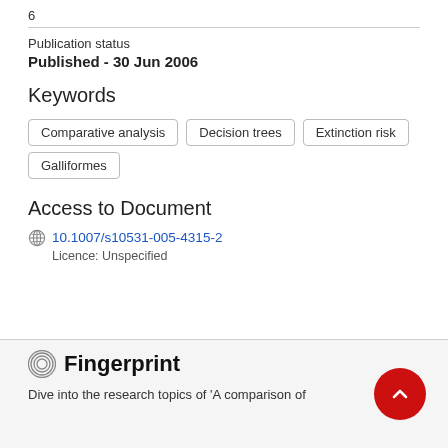6
Publication status
Published - 30 Jun 2006
Keywords
Comparative analysis
Decision trees
Extinction risk
Galliformes
Access to Document
10.1007/s10531-005-4315-2
Licence: Unspecified
Fingerprint
Dive into the research topics of 'A comparison of